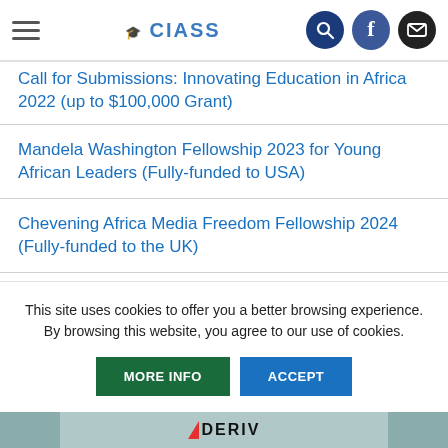CLASS (logo) — navigation header with search, Facebook, and mail icons
Call for Submissions: Innovating Education in Africa 2022 (up to $100,000 Grant)
Mandela Washington Fellowship 2023 for Young African Leaders (Fully-funded to USA)
Chevening Africa Media Freedom Fellowship 2024 (Fully-funded to the UK)
Updated TelOne Center For Learning Fees 2022
This site uses cookies to offer you a better browsing experience. By browsing this website, you agree to our use of cookies.
MORE INFO | ACCEPT
[Figure (logo): DERIV logo with red triangle and bold text at bottom of page]